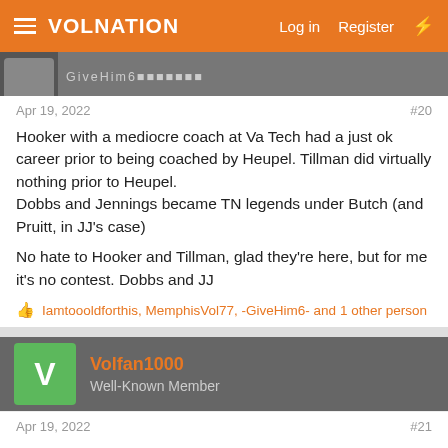VolNation — Log in  Register
Apr 19, 2022   #20
Hooker with a mediocre coach at Va Tech had a just ok career prior to being coached by Heupel. Tillman did virtually nothing prior to Heupel.
Dobbs and Jennings became TN legends under Butch (and Pruitt, in JJ's case)

No hate to Hooker and Tillman, glad they're here, but for me it's no contest. Dobbs and JJ
Iamtoooldforthis, MemphisVol77, -GiveHim6- and 1 other person
Volfan1000
Well-Known Member
Apr 19, 2022   #21